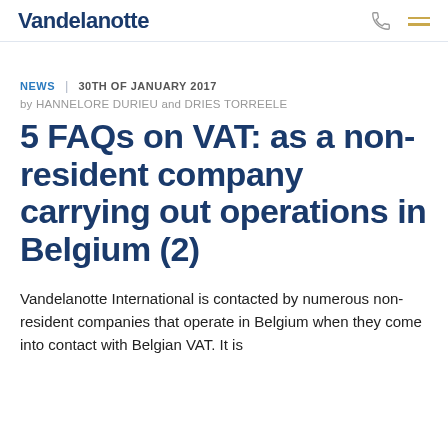Vandelanotte
NEWS | 30TH OF JANUARY 2017
by HANNELORE DURIEU and DRIES TORREELE
5 FAQs on VAT: as a non-resident company carrying out operations in Belgium (2)
Vandelanotte International is contacted by numerous non-resident companies that operate in Belgium when they come into contact with Belgian VAT. It is